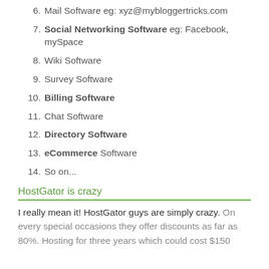6. Mail Software eg: xyz@mybloggertricks.com
7. Social Networking Software eg: Facebook, mySpace
8. Wiki Software
9. Survey Software
10. Billing Software
11. Chat Software
12. Directory Software
13. eCommerce Software
14. So on...
HostGator is crazy
I really mean it! HostGator guys are simply crazy. On every special occasions they offer discounts as far as 80%. Hosting for three years which could cost $150